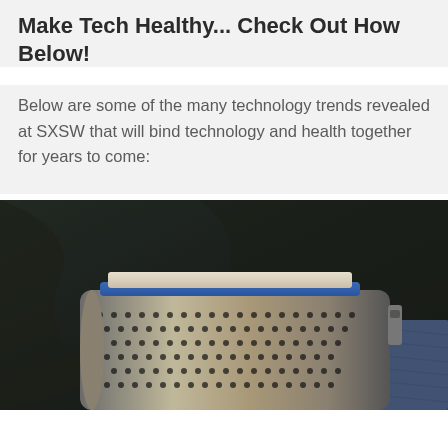Make Tech Healthy... Check Out How Below!
Below are some of the many technology trends revealed at SXSW that will bind technology and health together for years to come:
[Figure (photo): Close-up photo of a metallic cylindrical wearable health/tech device with a perforated metal casing and a blue accent, resting against dark fabric and denim jeans.]